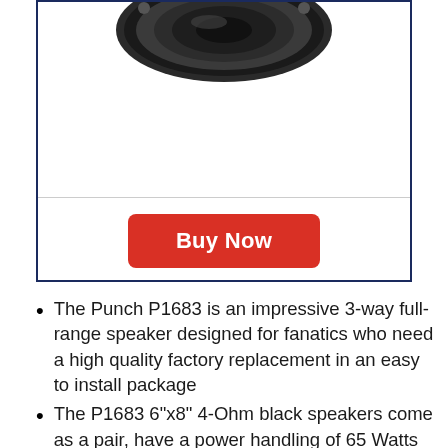[Figure (photo): Car speaker product image (Rockford Fosgate Punch P1683) shown from above, black circular speaker with visible cone and mounting bracket, partially cropped at top]
Buy Now
The Punch P1683 is an impressive 3-way full-range speaker designed for fanatics who need a high quality factory replacement in an easy to install package
The P1683 6"x8" 4-Ohm black speakers come as a pair, have a power handling of 65 Watts